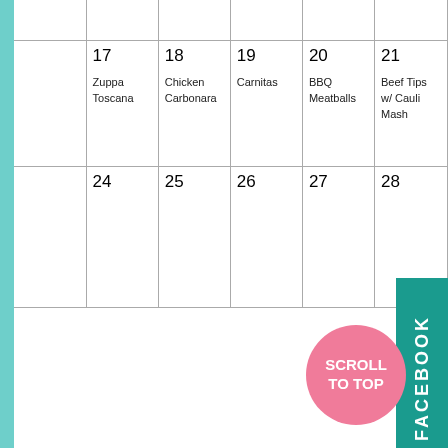|  | 17 | 18 | 19 | 20 | 21 |
| --- | --- | --- | --- | --- | --- |
|  | Zuppa Toscana | Chicken Carbonara | Carnitas | BBQ Meatballs | Beef Tips w/ Cauli Mash |
| 24 | 25 | 26 | 27 | 28 |  |
[Figure (illustration): Green circle with pencil icon]
Weekly Meal
Breakfast
[Figure (illustration): Green circle with letter S]
[Figure (infographic): Teal Facebook badge on right side]
[Figure (infographic): Pink circle with SCROLL TO TOP text]